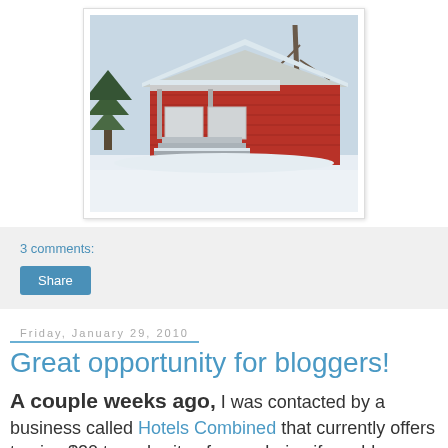[Figure (photo): A red wooden house or small building covered in snow, with a front porch with white doors, a bare tree in the background, photographed in winter.]
3 comments:
Share
Friday, January 29, 2010
Great opportunity for bloggers!
A couple weeks ago, I was contacted by a business called Hotels Combined that currently offers to give $20 to a charity of your choice if you blog about their